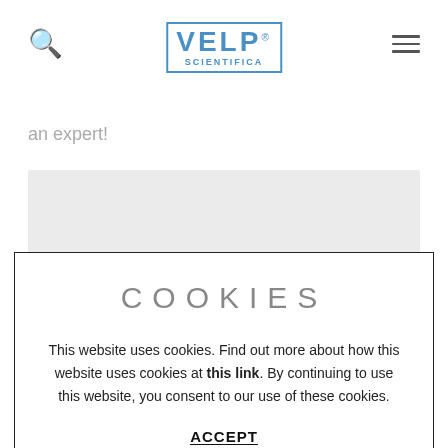VELP SCIENTIFICA (logo with search and hamburger menu)
an expert!
[Figure (photo): Gray placeholder image area]
COOKIES
This website uses cookies. Find out more about how this website uses cookies at this link. By continuing to use this website, you consent to our use of these cookies.
ACCEPT